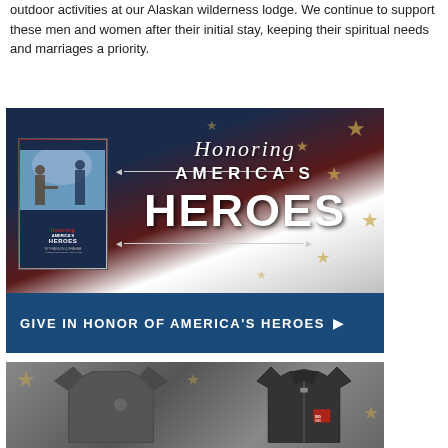outdoor activities at our Alaskan wilderness lodge. We continue to support these men and women after their initial stay, keeping their spiritual needs and marriages a priority.
[Figure (illustration): Promotional banner for 'Honoring America's Heroes' — features American flag background with stars, a book cover showing two men shaking hands titled 'America's Heroes', decorative arrow lines, and bold white text reading 'Honoring AMERICA'S HEROES'. Below is a dark blue call-to-action bar reading 'GIVE IN HONOR OF AMERICA'S HEROES ▶'.]
[Figure (photo): Partial view of clothing items — a dark grey long-sleeve shirt on the left and a dark zip-up jacket on the right, displayed against an American flag background.]